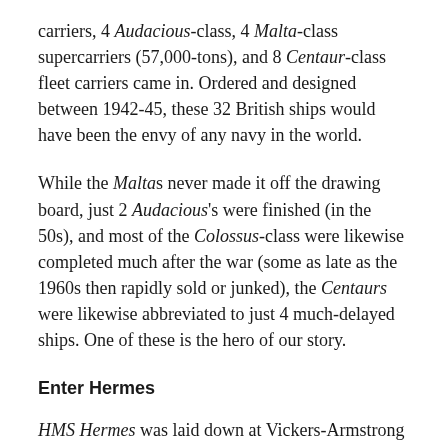carriers, 4 Audacious-class, 4 Malta-class supercarriers (57,000-tons), and 8 Centaur-class fleet carriers came in. Ordered and designed between 1942-45, these 32 British ships would have been the envy of any navy in the world.
While the Maltas never made it off the drawing board, just 2 Audacious's were finished (in the 50s), and most of the Colossus-class were likewise completed much after the war (some as late as the 1960s then rapidly sold or junked), the Centaurs were likewise abbreviated to just 4 much-delayed ships. One of these is the hero of our story.
Enter Hermes
HMS Hermes was laid down at Vickers-Armstrong on 21 June 1944, two weeks after the Allies stormed ashore at